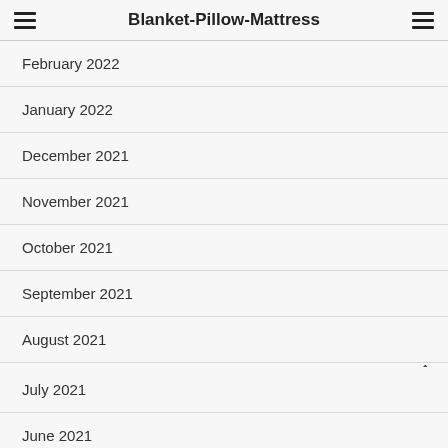Blanket-Pillow-Mattress
February 2022
January 2022
December 2021
November 2021
October 2021
September 2021
August 2021
July 2021
June 2021